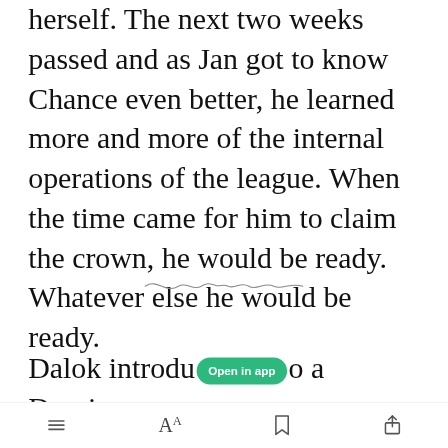herself. The next two weeks passed and as Jan got to know Chance even better, he learned more and more of the internal operations of the league. When the time came for him to claim the crown, he would be ready. Whatever else he would be ready.
[Figure (illustration): Decorative wavy line divider]
Dalok introdu[Open in app]o a Draxian
Toolbar with menu, text size, bookmark, and share icons